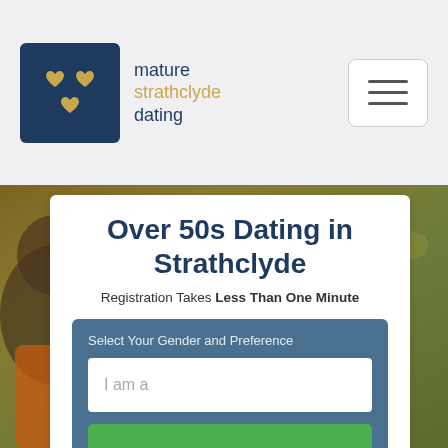[Figure (logo): Mature Strathclyde Dating logo: dark navy square with gold hearts, beside text 'mature strathclyde dating']
[Figure (photo): Outdoor autumn background with an older man in orange jacket, blurred bokeh golden field]
Over 50s Dating in Strathclyde
Registration Takes Less Than One Minute
Select Your Gender and Preference
I am a
NEXT